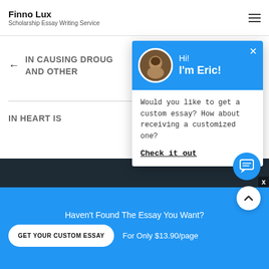Finno Lux
Scholarship Essay Writing Service
IN CAUSING DROUGAND OTHER
IN HEART IS
[Figure (screenshot): Chat popup widget with blue header showing avatar photo and greeting 'Hi! I'm Eric!', close X button, and body text: 'Would you like to get a custom essay? How about receiving a customized one? Check it out']
Haven't Found The Essay You Want?
GET YOUR CUSTOM ESSAY
For Only $13.90/page